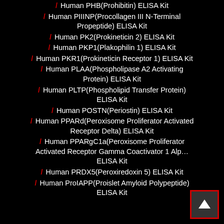/ Human PHB(Prohibitin) ELISA Kit
/ Human PIIINP(Procollagen III N-Terminal Propeptide) ELISA Kit
/ Human PK2(Prokineticin 2) ELISA Kit
/ Human PKP1(Plakophilin 1) ELISA Kit
/ Human PKR1(Prokineticin Receptor 1) ELISA Kit
/ Human PLAA(Phospholipase A2 Activating Protein) ELISA Kit
/ Human PLTP(Phospholipid Transfer Protein) ELISA Kit
/ Human POSTN(Periostin) ELISA Kit
/ Human PPARd(Peroxisome Proliferator Activated Receptor Delta) ELISA Kit
/ Human PPARgC1a(Peroxisome Proliferator Activated Receptor Gamma Coactivator 1 Alpha) ELISA Kit
/ Human PRDX5(Peroxiredoxin 5) ELISA Kit
/ Human ProIAPP(Proislet Amyloid Polypeptide) ELISA Kit